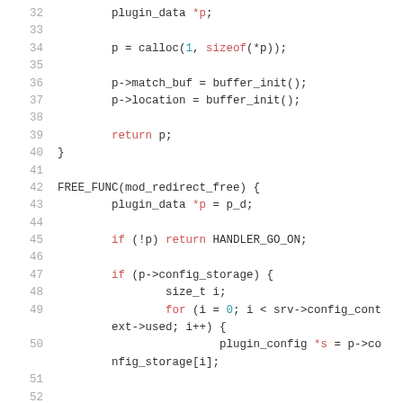[Figure (screenshot): Source code listing lines 32–51+ showing C code for plugin initialization and free functions with syntax highlighting. Line numbers in gray on the left, keywords in red/pink, numbers in teal/cyan, identifiers in dark gray.]